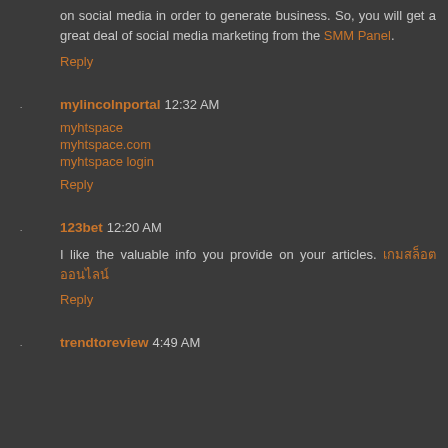on social media in order to generate business. So, you will get a great deal of social media marketing from the SMM Panel.
Reply
mylincolnportal 12:32 AM
myhtspace
myhtspace.com
myhtspace login
Reply
123bet 12:20 AM
I like the valuable info you provide on your articles. เกมสล็อตออนไลน์
Reply
trendtoreview 4:49 AM